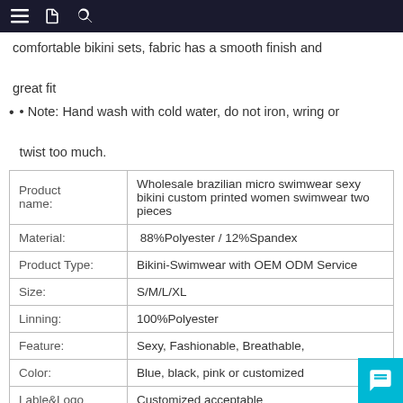comfortable bikini sets, fabric has a smooth finish and great fit
• Note: Hand wash with cold water, do not iron, wring or twist too much.
|  |  |
| --- | --- |
| Product name: | Wholesale brazilian micro swimwear sexy bikini custom printed women swimwear two pieces |
| Material: | 88%Polyester / 12%Spandex |
| Product Type: | Bikini-Swimwear with OEM ODM Service |
| Size: | S/M/L/XL |
| Linning: | 100%Polyester |
| Feature: | Sexy, Fashionable, Breathable, |
| Color: | Blue, black, pink or customized |
| Lable&Logo | Customized acceptable |